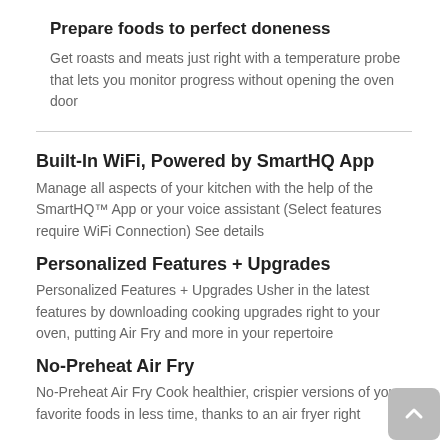Prepare foods to perfect doneness
Get roasts and meats just right with a temperature probe that lets you monitor progress without opening the oven door
Built-In WiFi, Powered by SmartHQ App
Manage all aspects of your kitchen with the help of the SmartHQ™ App or your voice assistant (Select features require WiFi Connection) See details
Personalized Features + Upgrades
Personalized Features + Upgrades Usher in the latest features by downloading cooking upgrades right to your oven, putting Air Fry and more in your repertoire
No-Preheat Air Fry
No-Preheat Air Fry Cook healthier, crispier versions of your favorite foods in less time, thanks to an air fryer right